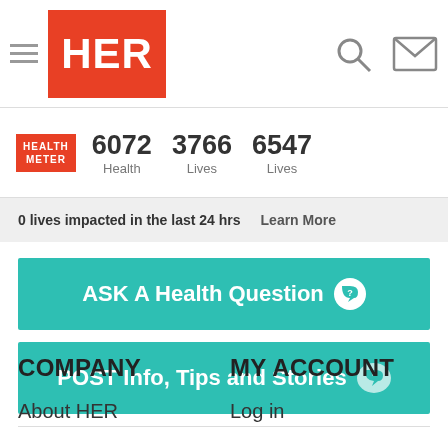HER navigation bar with hamburger menu, HER logo, search icon, and mail icon
6072 Health | 3766 Lives | 6547 Lives | HEALTH METER
0 lives impacted in the last 24 hrs   Learn More
ASK A Health Question
POST Info, Tips and Stories
COMPANY
MY ACCOUNT
About HER
Log in